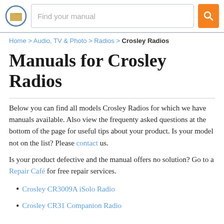Find your manual
Home > Audio, TV & Photo > Radios > Crosley Radios
Manuals for Crosley Radios
Below you can find all models Crosley Radios for which we have manuals available. Also view the frequenty asked questions at the bottom of the page for useful tips about your product. Is your model not on the list? Please contact us.
Is your product defective and the manual offers no solution? Go to a Repair Café for free repair services.
Crosley CR3009A iSolo Radio
Crosley CR31 Companion Radio